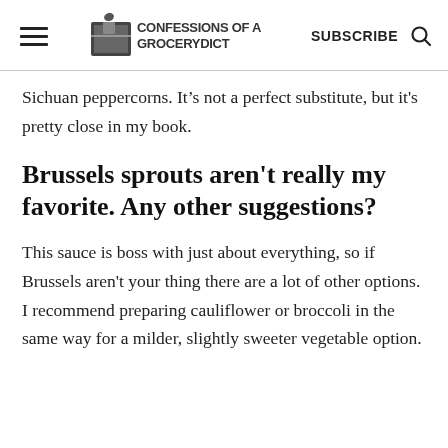CONFESSIONS OF A GROCERYDICT | SUBSCRIBE
Sichuan peppercorns. It's not a perfect substitute, but it's pretty close in my book.
Brussels sprouts aren't really my favorite. Any other suggestions?
This sauce is boss with just about everything, so if Brussels aren't your thing there are a lot of other options. I recommend preparing cauliflower or broccoli in the same way for a milder, slightly sweeter vegetable option.